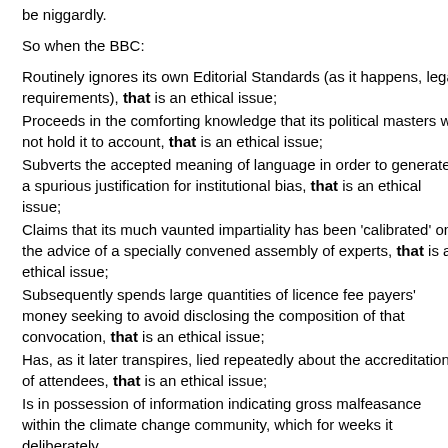be niggardly.
So when the BBC:
Routinely ignores its own Editorial Standards (as it happens, legal requirements), that is an ethical issue;
Proceeds in the comforting knowledge that its political masters will not hold it to account, that is an ethical issue;
Subverts the accepted meaning of language in order to generate a spurious justification for institutional bias, that is an ethical issue;
Claims that its much vaunted impartiality has been 'calibrated' on the advice of a specially convened assembly of experts, that is an ethical issue;
Subsequently spends large quantities of licence fee payers' money seeking to avoid disclosing the composition of that convocation, that is an ethical issue;
Has, as it later transpires, lied repeatedly about the accreditation of attendees, that is an ethical issue;
Is in possession of information indicating gross malfeasance within the climate change community, which for weeks it deliberately